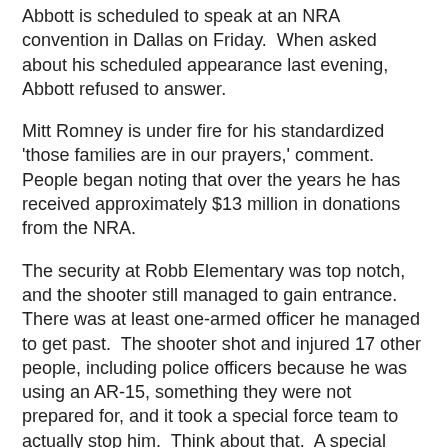Abbott is scheduled to speak at an NRA convention in Dallas on Friday. When asked about his scheduled appearance last evening, Abbott refused to answer.
Mitt Romney is under fire for his standardized 'those families are in our prayers,' comment. People began noting that over the years he has received approximately $13 million in donations from the NRA.
The security at Robb Elementary was top notch, and the shooter still managed to gain entrance. There was at least one-armed officer he managed to get past. The shooter shot and injured 17 other people, including police officers because he was using an AR-15, something they were not prepared for, and it took a special force team to actually stop him. Think about that. A special force team. This was an 18 year old who just recently purchased 2 AR-15s. Needing a special force, armed border patrol team to take him out says a lot about the problems of letting 18 year old kids buy automatic rifles.